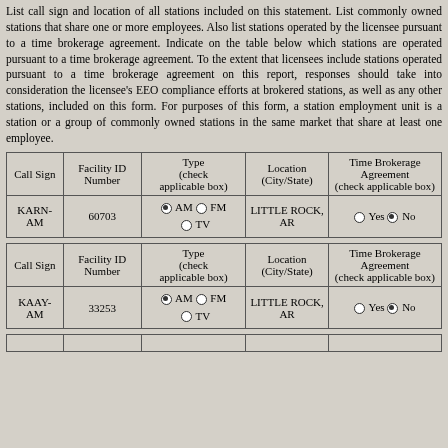List call sign and location of all stations included on this statement. List commonly owned stations that share one or more employees. Also list stations operated by the licensee pursuant to a time brokerage agreement. Indicate on the table below which stations are operated pursuant to a time brokerage agreement. To the extent that licensees include stations operated pursuant to a time brokerage agreement on this report, responses should take into consideration the licensee's EEO compliance efforts at brokered stations, as well as any other stations, included on this form. For purposes of this form, a station employment unit is a station or a group of commonly owned stations in the same market that share at least one employee.
| Call Sign | Facility ID Number | Type (check applicable box) | Location (City/State) | Time Brokerage Agreement (check applicable box) |
| --- | --- | --- | --- | --- |
| KARN-AM | 60703 | AM (selected) FM TV | LITTLE ROCK, AR | Yes No (No selected) |
| Call Sign | Facility ID Number | Type (check applicable box) | Location (City/State) | Time Brokerage Agreement (check applicable box) |
| --- | --- | --- | --- | --- |
| KAAY-AM | 33253 | AM (selected) FM TV | LITTLE ROCK, AR | Yes No (No selected) |
| Call Sign | Facility ID Number | Type (check applicable box) | Location (City/State) | Time Brokerage Agreement (check applicable box) |
| --- | --- | --- | --- | --- |